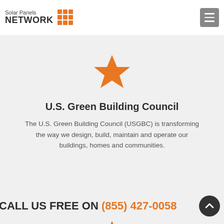Solar Panels NETWORK
NASCER is known as the "gold standard" for PV and Solar Heating and PV Technical Sales Certifications.
[Figure (illustration): Orange star icon]
U.S. Green Building Council
The U.S. Green Building Council (USGBC) is transforming the way we design, build, maintain and operate our buildings, homes and communities.
CALL US FREE ON (855) 427-0058